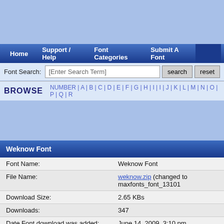Navigation: Home | Support / Help | Font Categories | Submit A Font
Font Search: [Enter Search Term] search reset
BROWSE  NUMBER|A|B|C|D|E|F|G|H|I|J|K|L|M|N|O|P|Q|R
Weknow Font
|  |  |
| --- | --- |
| Font Name: | Weknow Font |
| File Name: | weknow.zip (changed to maxfonts_font_13101... |
| Download Size: | 2.65 KBs |
| Downloads: | 347 |
| Date Font download was added: | June 14, 2009, 3:10 pm |
| Last downloaded: | September 2, 2022, 12:15 am |
| Categorie: | Not assigned |
| Preview File: | weknowfont1.ttf |
| Author: |  |
| Author Site: |  |